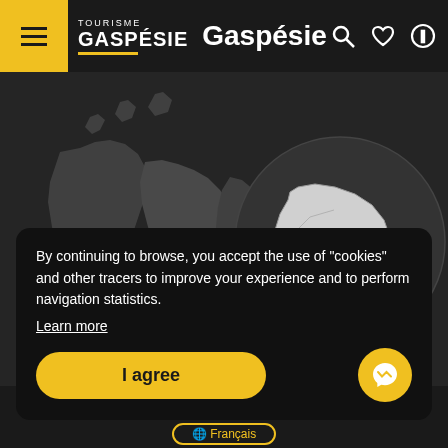[Figure (screenshot): Tourisme Gaspésie website header with hamburger menu, logo, title 'Gaspésie', and search/heart/info icons]
[Figure (map): Dark-themed map of Canada with Quebec highlighted and a zoomed circle showing the Gaspésie region in light gray]
By continuing to browse, you accept the use of "cookies" and other tracers to improve your experience and to perform navigation statistics.
Learn more
I agree
Français